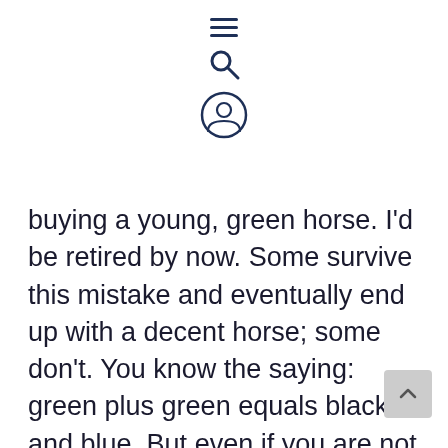[Figure (screenshot): Mobile website navigation header icons: hamburger menu, search icon, and user/account icon rendered in dark navy blue]
buying a young, green horse. I'd be retired by now. Some survive this mistake and eventually end up with a decent horse; some don't. You know the saying: green plus green equals black and blue. But even if you are not a novice rider and you have the capability to train a horse, do you really want to spend your precious time at that? Do you really want mont